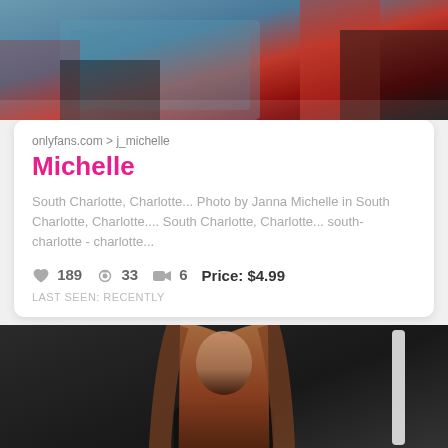[Figure (photo): Partial photo of a person in colorful clothing (red, black lace, teal) — top banner image, cropped]
onlyfans.com > j_michelle
Michelle
South Charlotte, Charlotte... Photo by Janna Michelle in South Charlotte, Charlotte.... South Charlotte, Charlotte... south- charlotte - charlotte...
❤ 189   📷 33   🎬 6   Price: $4.99
LAST SEEN: RECENTLY
[Figure (photo): Photo of a woman with long straight red/auburn hair, wearing a black outfit, standing against a dark background with a vertical light bar on the right]